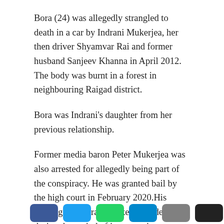Bora (24) was allegedly strangled to death in a car by Indrani Mukerjea, her then driver Shyamvar Rai and former husband Sanjeev Khanna in April 2012. The body was burnt in a forest in neighbouring Raigad district.
Bora was Indrani's daughter from her previous relationship.
Former media baron Peter Mukerjea was also arrested for allegedly being part of the conspiracy. He was granted bail by the high court in February 2020.His marriage to Indrani Mukerjea ended during the period of incarceration.